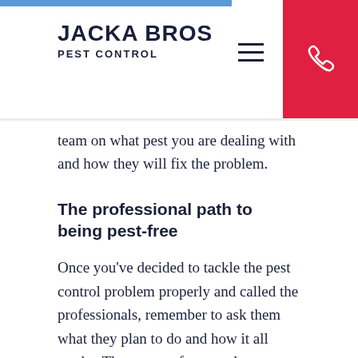JACKA BROS PEST CONTROL
team on what pest you are dealing with and how they will fix the problem.
The professional path to being pest-free
Once you've decided to tackle the pest control problem properly and called the professionals, remember to ask them what they plan to do and how it all works. There are unfortunately some pest controllers who you need to look out for. They make it a point to talk in fancy jargon and make the problem seem worse than it is then offer a solution that's as complicated as possible. This can